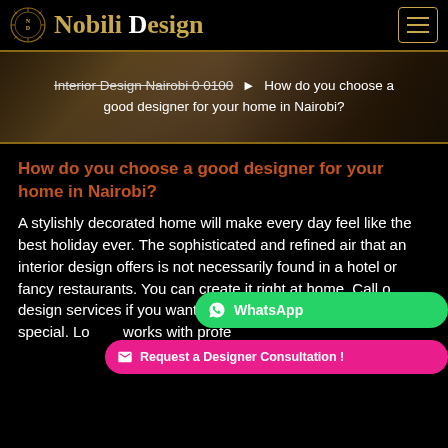Nobili Design
[Figure (screenshot): Interior design room background with breadcrumb navigation showing: Interior Design Nairobi 0 0100 ▶ How do you choose a good designer for your home in Nairobi?]
How do you choose a good designer for your home in Nairobi?
A stylishly decorated home will make every day feel like the best holiday ever. The sophisticated and refined air that an interior design offers is not necessarily found in a hotel or fancy restaurants. You can create it right at home. Call our design services if you want every day in your home to be special. Lo... works with professionalism and passion. Choose the best interior for your home...